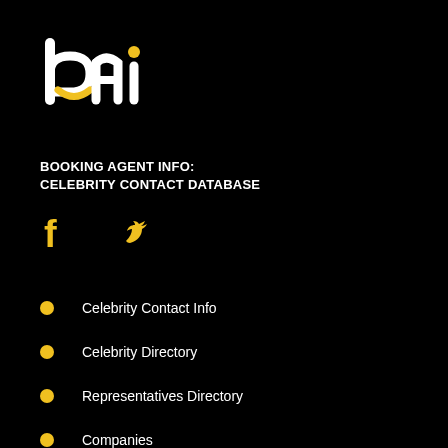[Figure (logo): BAI logo - stylized letters 'bai' in white and yellow/gold on black background]
BOOKING AGENT INFO:
CELEBRITY CONTACT DATABASE
[Figure (infographic): Social media icons: Facebook (f) and Twitter (bird) in yellow/gold color]
Celebrity Contact Info
Celebrity Directory
Representatives Directory
Companies
FAQ
Terms of Use